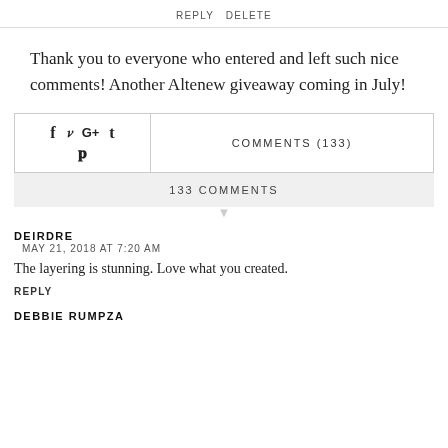REPLY DELETE
Thank you to everyone who entered and left such nice comments! Another Altenew giveaway coming in July!
[Figure (infographic): Social share icons (f, bird/twitter, G+, t, p) on left side, and COMMENTS (133) label on right]
133 COMMENTS
DEIRDRE
MAY 21, 2018 AT 7:20 AM
The layering is stunning. Love what you created.
REPLY
DEBBIE RUMPZA